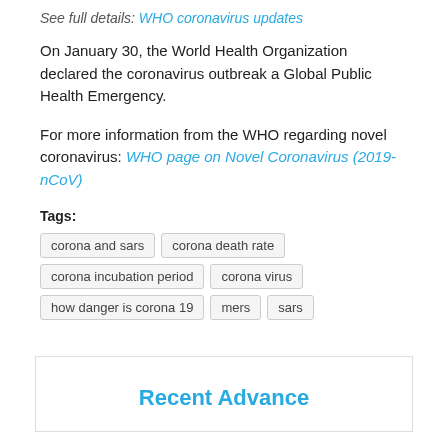See full details: WHO coronavirus updates
On January 30, the World Health Organization declared the coronavirus outbreak a Global Public Health Emergency.
For more information from the WHO regarding novel coronavirus: WHO page on Novel Coronavirus (2019-nCoV)
Tags: corona and sars  corona death rate  corona incubation period  corona virus  how danger is corona 19  mers  sars
Recent Advance